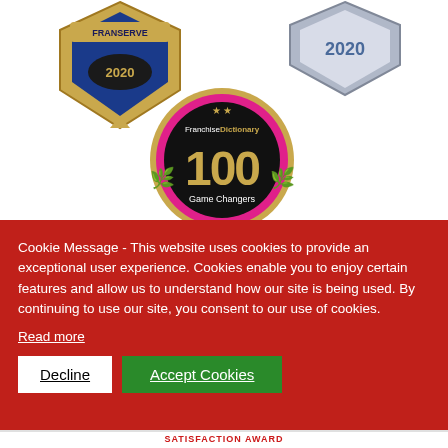[Figure (logo): Franserve 2020 award badge — blue and gold shield with '2020' text]
[Figure (logo): 2020 shield award badge in silver/grey tones]
[Figure (logo): Franchise Dictionary 100 Game Changers gold medallion badge with pink accent ring]
Cookie Message - This website uses cookies to provide an exceptional user experience. Cookies enable you to enjoy certain features and allow us to understand how our site is being used. By continuing to use our site, you consent to our use of cookies.
Read more
Decline
Accept Cookies
SATISFACTION AWARD